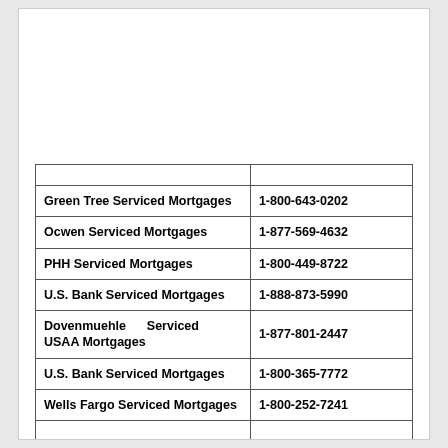|  |  |
| --- | --- |
| Green Tree Serviced Mortgages | 1-800-643-0202 |
| Ocwen Serviced Mortgages | 1-877-569-4632 |
| PHH Serviced Mortgages | 1-800-449-8722 |
| U.S. Bank Serviced Mortgages | 1-888-873-5990 |
| Dovenmuehle Serviced USAA Mortgages | 1-877-801-2447 |
| U.S. Bank Serviced Mortgages | 1-800-365-7772 |
| Wells Fargo Serviced Mortgages | 1-800-252-7241 |
|  |  |